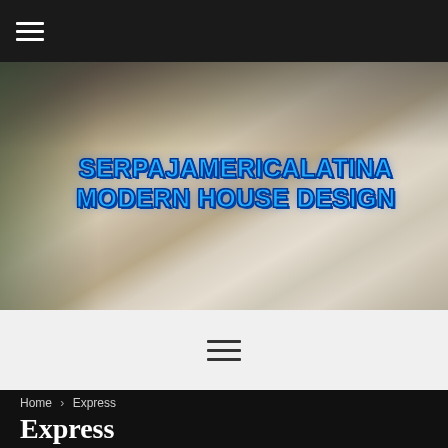[Figure (screenshot): Top navigation bar with hamburger menu icon on dark background]
[Figure (photo): Hero image of a modern luxury living room interior with open floor plan, sofas, round coffee table, staircase, and floor-to-ceiling windows. Overlaid text reads SERPAJAMERICALATINA MODERN HOUSE DESIGN in bold blue metallic font.]
[Figure (screenshot): White navigation menu bar with hamburger/three-line menu icon centered]
Home > Express
Express